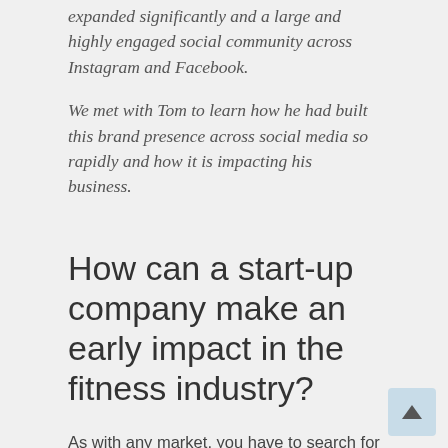expanded significantly and a large and highly engaged social community across Instagram and Facebook.
We met with Tom to learn how he had built this brand presence across social media so rapidly and how it is impacting his business.
How can a start-up company make an early impact in the fitness industry?
As with any market, you have to search for a niche that isn't yet saturated and ask yourself whether there is likely to be a significant audience demand